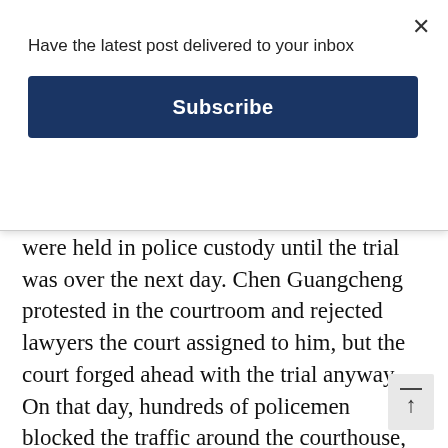Have the latest post delivered to your inbox
Subscribe
were held in police custody until the trial was over the next day. Chen Guangcheng protested in the courtroom and rejected lawyers the court assigned to him, but the court forged ahead with the trial anyway. On that day, hundreds of policemen blocked the traffic around the courthouse, and prohibited anyone from attending the trial, including Chen Guangcheng’s mother, his wife and his relatives. People who came from outside Linyi to attend the trial were being detained, blocked or beaten. On August 24, the Yinan County Pe’s